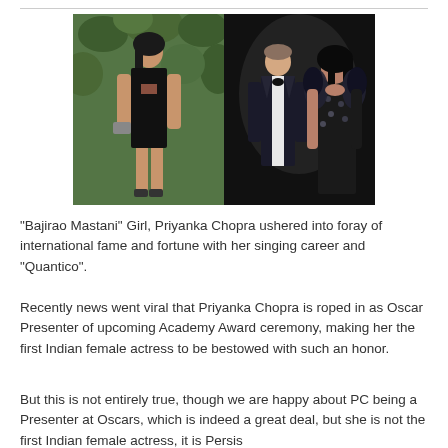[Figure (photo): Two side-by-side photos: left shows a woman in a black strapless dress posing in front of green foliage; right shows a man in a tuxedo with a bow tie standing next to a woman in a black sequined outfit, both at what appears to be a formal event.]
“Bajirao Mastani” Girl, Priyanka Chopra ushered into foray of international fame and fortune with her singing career and “Quantico”.
Recently news went viral that Priyanka Chopra is roped in as Oscar Presenter of upcoming Academy Award ceremony, making her the first Indian female actress to be bestowed with such an honor.
But this is not entirely true, though we are happy about PC being a Presenter at Oscars, which is indeed a great deal, but she is not the first Indian female actress, it is Persis